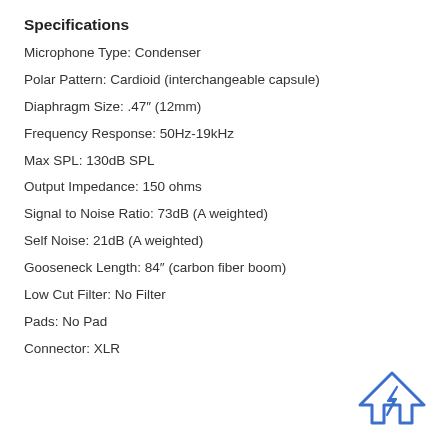Specifications
Microphone Type: Condenser
Polar Pattern: Cardioid (interchangeable capsule)
Diaphragm Size: .47" (12mm)
Frequency Response: 50Hz-19kHz
Max SPL: 130dB SPL
Output Impedance: 150 ohms
Signal to Noise Ratio: 73dB (A weighted)
Self Noise: 21dB (A weighted)
Gooseneck Length: 84" (carbon fiber boom)
Low Cut Filter: No Filter
Pads: No Pad
Connector: XLR
[Figure (logo): Blue outline icon of a house/mountain shape with a lightning bolt, resembling a stylized logo]